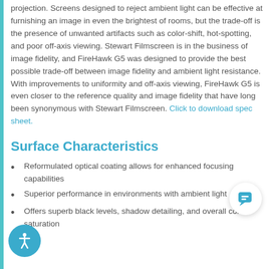projection. Screens designed to reject ambient light can be effective at furnishing an image in even the brightest of rooms, but the trade-off is the presence of unwanted artifacts such as color-shift, hot-spotting, and poor off-axis viewing. Stewart Filmscreen is in the business of image fidelity, and FireHawk G5 was designed to provide the best possible trade-off between image fidelity and ambient light resistance. With improvements to uniformity and off-axis viewing, FireHawk G5 is even closer to the reference quality and image fidelity that have long been synonymous with Stewart Filmscreen. Click to download spec sheet.
Surface Characteristics
Reformulated optical coating allows for enhanced focusing capabilities
Superior performance in environments with ambient light
Offers superb black levels, shadow detailing, and overall color saturation